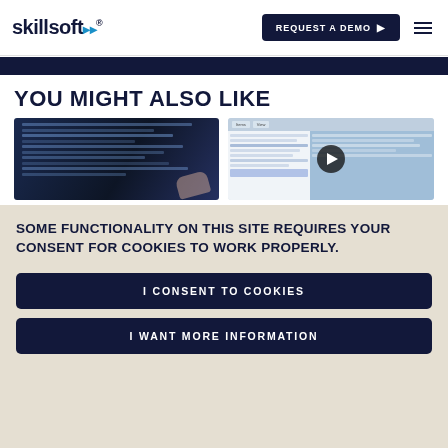skillsoft — REQUEST A DEMO
YOU MIGHT ALSO LIKE
[Figure (screenshot): Two content preview cards: left shows a hand touching a screen with code, right shows a video player screenshot with a play button overlay]
SOME FUNCTIONALITY ON THIS SITE REQUIRES YOUR CONSENT FOR COOKIES TO WORK PROPERLY.
I CONSENT TO COOKIES
I WANT MORE INFORMATION